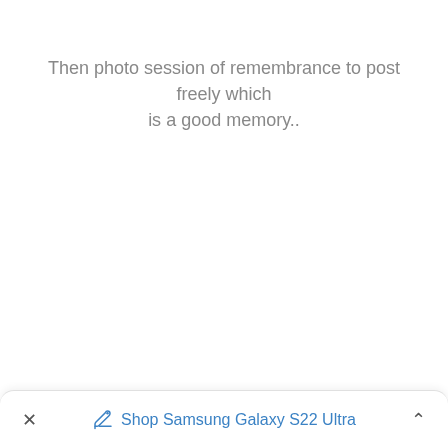Then photo session of remembrance to post freely which is a good memory..
[Figure (screenshot): Bottom browser/app bar showing a close (×) button on the left, a shopping tag icon with 'Shop Samsung Galaxy S22 Ultra' link in blue in the center, and an expand (^) button on the right.]